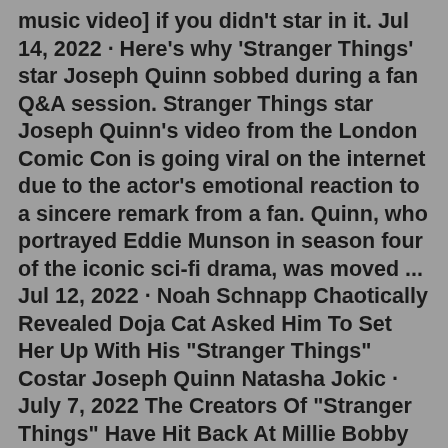music video] if you didn't star in it. Jul 14, 2022 · Here's why 'Stranger Things' star Joseph Quinn sobbed during a fan Q&A session. Stranger Things star Joseph Quinn's video from the London Comic Con is going viral on the internet due to the actor's emotional reaction to a sincere remark from a fan. Quinn, who portrayed Eddie Munson in season four of the iconic sci-fi drama, was moved ... Jul 12, 2022 · Noah Schnapp Chaotically Revealed Doja Cat Asked Him To Set Her Up With His "Stranger Things" Costar Joseph Quinn Natasha Jokic · July 7, 2022 The Creators Of "Stranger Things" Have Hit Back At Millie Bobby Brown's Criticism Of The Show After She Dragged Them For Not Killing Off More Characters Stephanie Soteriou · July 6, 2022 Joseph Quinn's Eddie Munson became a huge fan favourite in Stranger Things 4. Picture: Netflix. The events referenced in the Q&A refer to the alleged reports that Joseph was forced to rush through his huge meet and greet queue, with fans alleging that he was shouted at by the event's security. The event's